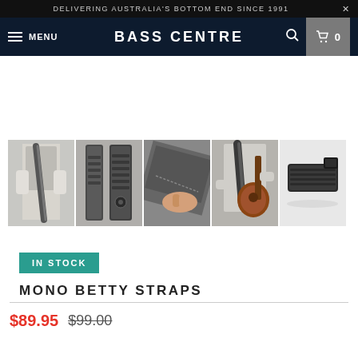DELIVERING AUSTRALIA'S BOTTOM END SINCE 1991
BASS CENTRE
[Figure (screenshot): Five product thumbnail images of Mono Betty Straps shown in a row: person wearing strap from behind, strap laid flat, close-up of strap material, person playing guitar with strap, and strap folded on white background.]
IN STOCK
MONO BETTY STRAPS
$89.95 $99.00